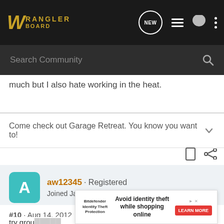[Figure (screenshot): WranglerBoard navigation bar with logo, search community bar, and icons for new messages, list, user, and menu]
much but I also hate working in the heat.
Come check out Garage Retreat. You know you want to!
aw12345 · Registered
Joined Jan 29, 2012 · 979 Posts
#10 · Aug 14, 2012
try grou...  s.
Differen...  a lot
[Figure (screenshot): Bitdefender Identity Theft Protection advertisement: 'Avoid identity theft while shopping online' with LEARN MORE button]